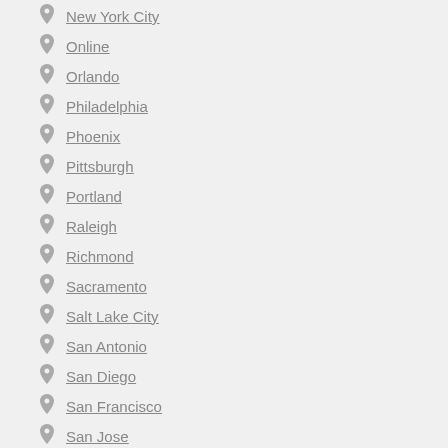New York City
Online
Orlando
Philadelphia
Phoenix
Pittsburgh
Portland
Raleigh
Richmond
Sacramento
Salt Lake City
San Antonio
San Diego
San Francisco
San Jose
Seattle
Stamford
St. Louis
Tampa
Tucson
Washington, D.C.